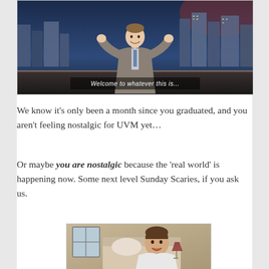[Figure (screenshot): A TV show host on stage with city skyline backdrop, subtitle reads 'Welcome to whatever this is...']
We know it's only been a month since you graduated, and you aren't feeling nostalgic for UVM yet…
Or maybe you are nostalgic because the 'real world' is happening now. Some next level Sunday Scaries, if you ask us.
[Figure (screenshot): A man (Will Ferrell-like figure) in a white shirt holding a wine glass, appearing distressed, from a movie/TV scene]